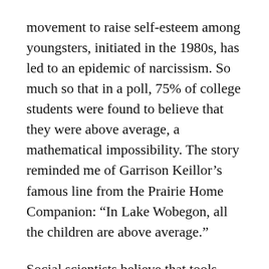movement to raise self-esteem among youngsters, initiated in the 1980s, has led to an epidemic of narcissism. So much so that in a poll, 75% of college students were found to believe that they were above average, a mathematical impossibility. The story reminded me of Garrison Keillor’s famous line from the Prairie Home Companion: “In Lake Wobegon, all the children are above average.”
Social scientists believe that tools such as Facebook, which encourage users to post photos and trivial details about themselves, have only exacerbated the tendency toward